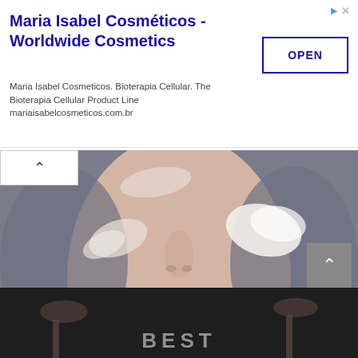[Figure (screenshot): Advertisement banner for Maria Isabel Cosméticos - Worldwide Cosmetics with an OPEN button and description text]
[Figure (photo): Close-up of a person's face with cream/primer product applied on cheeks and forehead]
Which Is The Best Primer For Acne Prone Skin?
It might not be easy to choose the right primer for acne prone skin , and if
[Figure (photo): Bottom image showing makeup brushes with text BEST partially visible]